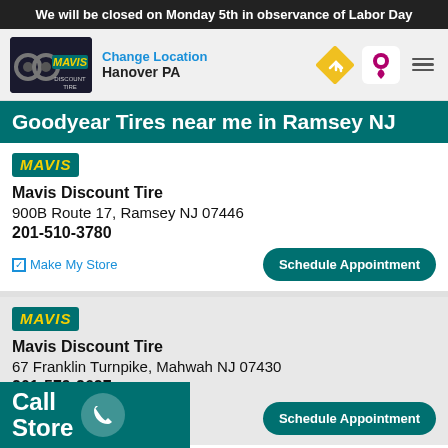We will be closed on Monday 5th in observance of Labor Day
[Figure (logo): Mavis Discount Tire logo with navigation bar showing Change Location and Hanover PA, plus navigation icons]
Goodyear Tires near me in Ramsey NJ
[Figure (logo): Mavis badge/logo (teal background, yellow italic MAVIS text)]
Mavis Discount Tire
900B Route 17, Ramsey NJ 07446
201-510-3780
Make My Store | Schedule Appointment
[Figure (logo): Mavis badge/logo (teal background, yellow italic MAVIS text) - second listing]
Mavis Discount Tire
67 Franklin Turnpike, Mahwah NJ 07430
201-579-2627
Make My Store | Schedule Appointment
Call
Store